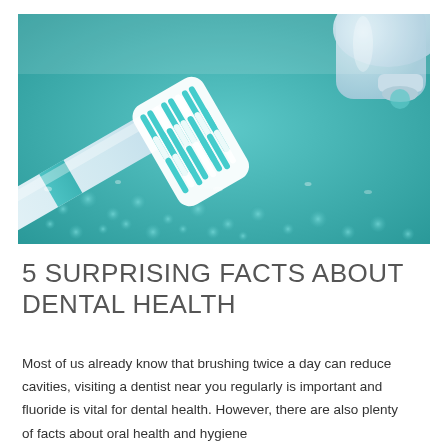[Figure (photo): Close-up photo of a teal and white electric toothbrush head with bristles, lying on a teal bubble-textured surface, with a white toothpaste tube visible in the upper right background.]
5 SURPRISING FACTS ABOUT DENTAL HEALTH
Most of us already know that brushing twice a day can reduce cavities, visiting a dentist near you regularly is important and fluoride is vital for dental health. However, there are also plenty of facts about oral health and hygiene